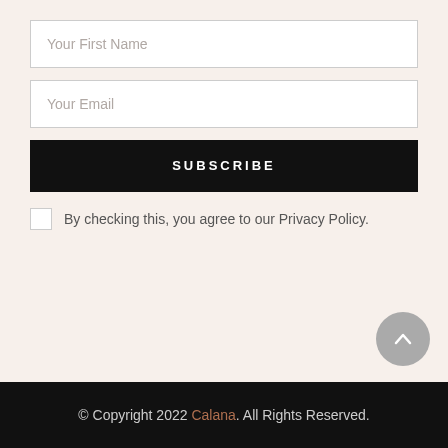Your First Name
Your Email
SUBSCRIBE
By checking this, you agree to our Privacy Policy.
© Copyright 2022 Calana. All Rights Reserved.